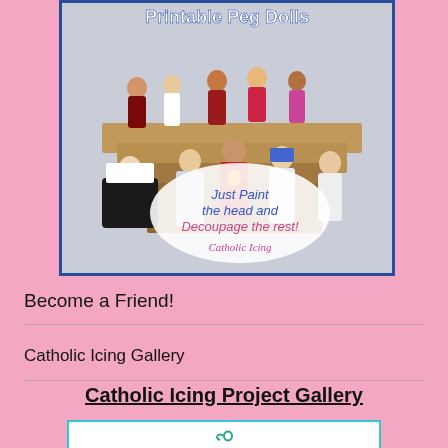[Figure (photo): Photo of painted peg dolls representing Catholic saints/figures on wooden steps, with text overlay 'Printable Peg Dolls', 'Just Paint the head and Decoupage the rest!', 'Catholic Icing']
Become a Friend!
Catholic Icing Gallery
Catholic Icing Project Gallery
[Figure (illustration): Partial view of a teal-bordered white box with a decorative swirl/scroll element, likely the start of the Catholic Icing Project Gallery image]